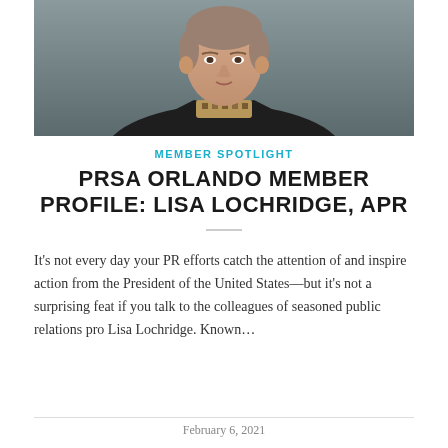[Figure (photo): Professional headshot of Lisa Lochridge, a woman in a black blazer with a patterned top, photographed against a grey background.]
MEMBER SPOTLIGHT
PRSA ORLANDO MEMBER PROFILE: LISA LOCHRIDGE, APR
It's not every day your PR efforts catch the attention of and inspire action from the President of the United States—but it's not a surprising feat if you talk to the colleagues of seasoned public relations pro Lisa Lochridge.  Known…
February 6, 2021